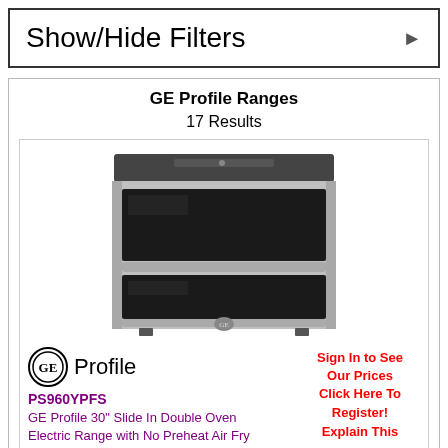Show/Hide Filters
GE Profile Ranges
17 Results
[Figure (photo): GE Profile double oven electric range in stainless steel, slide-in style with glass cooktop on top and two oven compartments below]
[Figure (logo): GE Profile brand logo — circular GE emblem followed by the word Profile in gray]
Sign In to See Our Prices Click Here To Register!
PS960YPFS
GE Profile 30" Slide In Double Oven Electric Range with No Preheat Air Fry
Explain This